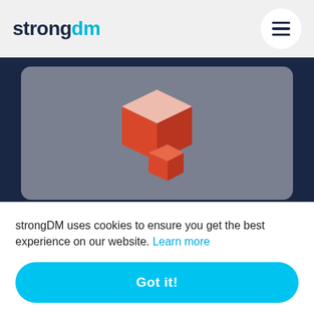strongdm
[Figure (illustration): AWS S3 red cube/block logo on grey rounded card background]
Connect Okta & S3
[Figure (illustration): Three rounded horizontal bars in shades of teal/green stacked vertically on grey rounded card]
strongDM uses cookies to ensure you get the best experience on our website. Learn more
Got it!